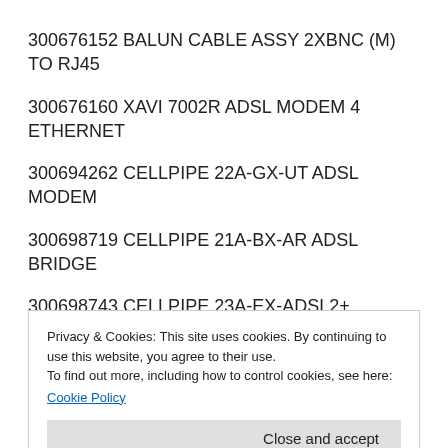300676152 BALUN CABLE ASSY 2XBNC (M) TO RJ45
300676160 XAVI 7002R ADSL MODEM 4 ETHERNET
300694262 CELLPIPE 22A-GX-UT ADSL MODEM
300698719 CELLPIPE 21A-BX-AR ADSL BRIDGE
300698743 CELLPIPE 23A-EX-ADSL2+ MODEM
300698750 CELLPIPE 23A-EX-E ADSL2+ MODEM
300740560 CELLPIPE 61A-BX-DE ADSL-B, WLAN, GERMANY
300664554 STGRCR-PU-190
300669645 STGRCR-PNODE-CSM36W
Privacy & Cookies: This site uses cookies. By continuing to use this website, you agree to their use.
To find out more, including how to control cookies, see here:
Cookie Policy
300669702 STGRCR-PNODE-D324
300671170 STGRCR-CR-FANINT